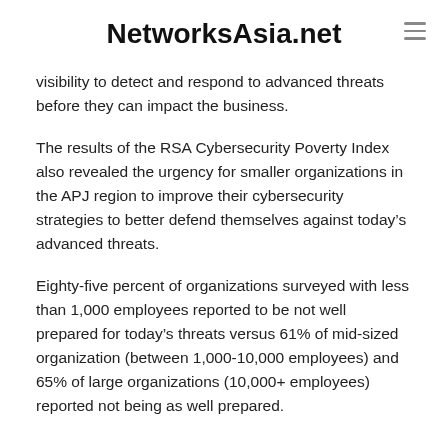NetworksAsia.net
visibility to detect and respond to advanced threats before they can impact the business.
The results of the RSA Cybersecurity Poverty Index also revealed the urgency for smaller organizations in the APJ region to improve their cybersecurity strategies to better defend themselves against today’s advanced threats.
Eighty-five percent of organizations surveyed with less than 1,000 employees reported to be not well prepared for today’s threats versus 61% of mid-sized organization (between 1,000-10,000 employees) and 65% of large organizations (10,000+ employees) reported not being as well prepared.